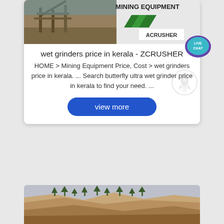[Figure (screenshot): Top portion of a search result card showing a mining equipment image on the left (wooden structure, construction site) and MINING EQUIPMENT ACRUSHER logo/banner on the right]
wet grinders price in kerala - ZCRUSHER
HOME > Mining Equipment Price, Cost > wet grinders price in kerala. ... Search butterfly ultra wet grinder price in kerala to find your need. ...
[Figure (illustration): Live Chat badge - teal/purple circle with chat bubble icon and text LIVE CHAT]
[Figure (illustration): Rocket icon watermark in lower right area]
view more
[Figure (photo): Photograph of a quarry or mining site showing a large rocky cliff face with trees along the top ridge against a grey sky]